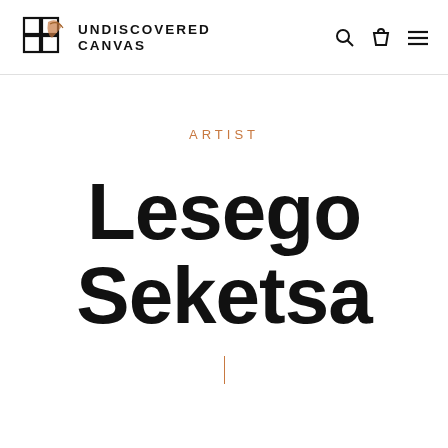UNDISCOVERED CANVAS
ARTIST
Lesego Seketsa